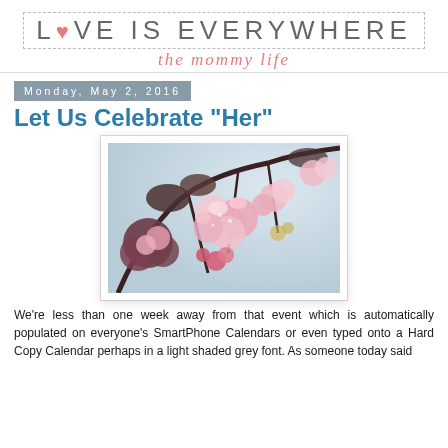[Figure (logo): Blog logo reading LOVE IS EVERYWHERE with a heart replacing the O, subtitle 'the mommy life' in pink script]
Monday, May 2, 2016
Let Us Celebrate "Her"
[Figure (photo): Close-up photo of pink cherry blossoms on branches against a light sky background]
We're less than one week away from that event which is automatically populated on everyone's SmartPhone Calendars or even typed onto a Hard Copy Calendar perhaps in a light shaded grey font. As someone today said